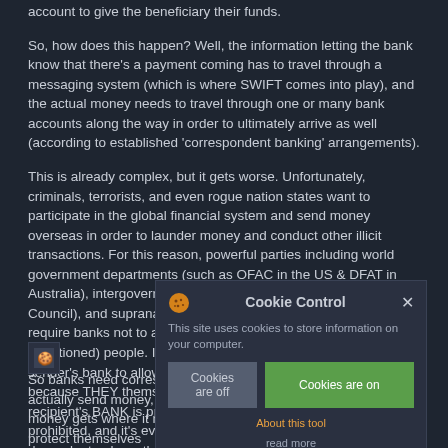account to give the beneficiary their funds.
So, how does this happen? Well, the information letting the bank know that there's a payment coming has to travel through a messaging system (which is where SWIFT comes into play), and the actual money needs to travel through one or many bank accounts along the way in order to ultimately arrive as well (according to established 'correspondent banking' arrangements).
This is already complex, but it gets worse. Unfortunately, criminals, terrorists, and even rogue nation states want to participate in the global financial system and send money overseas in order to launder money and conduct other illicit transactions. For this reason, powerful parties including world government departments (such as OFAC in the US & DFAT in Australia), intergovernmental organisations (like the UN Security Council), and supranational organisations (like the EU) may require banks not to allow money to flow to prohibited (or Sanctioned) people. In fact, Sanctions can make it illegal for the sender's bank to allow a transfer to the intended recipient because THEY themselves are prohibited, or because the recipient's BANK is prohibited, or because the COUNTRY is prohibited, and it's even possible to Sanction a transaction dependent only on the underlying PURPOSE or INDUSTRY. This is were there were a topical way to visualise this...
[Figure (screenshot): Cookie Control popup overlay with title 'Cookie Control', close button (X), text about cookies, 'Cookies are off' and 'Cookies are on' buttons, 'About this tool' and 'read more' links]
So banks need correspondent banking relationships in order to actually send money, a messaging system in order to ensure the money gets where it needs to go, and a way to ensure that they protect themselves from the potential for compliance consequences for all the illegal money...